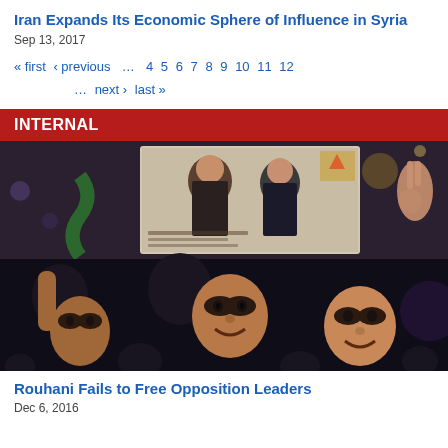Iran Expands Its Economic Sphere of Influence in Syria
Sep 13, 2017
« first  ‹ previous  …  4  5  6  7  8  9  10  11  12  …  next ›  last »
INTERNAL
[Figure (photo): Crowd of protesters or supporters at night, holding a poster with portraits of two men in clerical robes. People in the foreground are smiling and raising hands, one making a peace sign.]
Rouhani Fails to Free Opposition Leaders
Dec 6, 2016